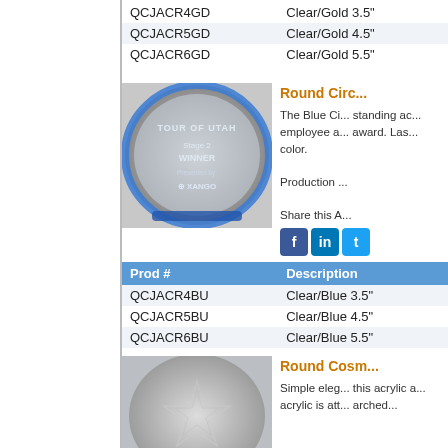| Prod # | Description |
| --- | --- |
| QCJACR4GD | Clear/Gold 3.5" |
| QCJACR5GD | Clear/Gold 4.5" |
| QCJACR6GD | Clear/Gold 5.5" |
[Figure (photo): Round circle acrylic award with blue ring, engraved TOUR OF UTAH Stage 2 WINNER, Presented by XANGO]
Round Circ...
The Blue Ci... standing ac... employee a... award. Las... color.
Production ...
Share this A...
| Prod # | Description |
| --- | --- |
| QCJACR4BU | Clear/Blue 3.5" |
| QCJACR5BU | Clear/Blue 4.5" |
| QCJACR6BU | Clear/Blue 5.5" |
[Figure (photo): Round Cosm... acrylic award with star pattern]
Round Cosm...
Simple eleg... this acrylic a... acrylic is att... arched...